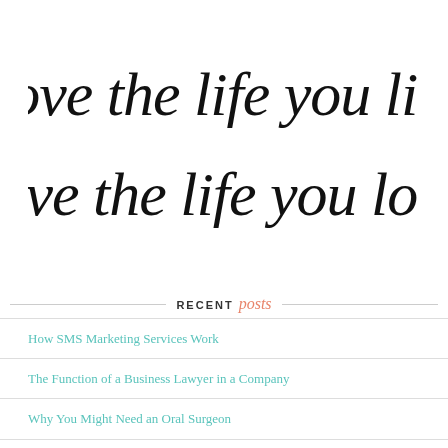[Figure (illustration): Decorative cursive calligraphy text reading 'Love the life you live / Live the life you love' in black script on white background]
RECENT posts
How SMS Marketing Services Work
The Function of a Business Lawyer in a Company
Why You Might Need an Oral Surgeon
Why a Monthly T-shirt Subscription is the Perfect Gift for Your Man